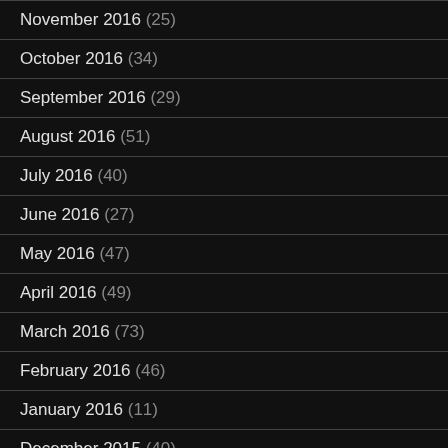November 2016 (25)
October 2016 (34)
September 2016 (29)
August 2016 (51)
July 2016 (40)
June 2016 (27)
May 2016 (47)
April 2016 (49)
March 2016 (73)
February 2016 (46)
January 2016 (11)
December 2015 (40)
November 2015 (56)